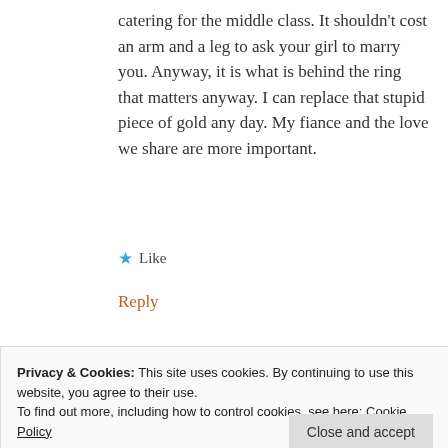catering for the middle class. It shouldn't cost an arm and a leg to ask your girl to marry you. Anyway, it is what is behind the ring that matters anyway. I can replace that stupid piece of gold any day. My fiance and the love we share are more important.
★ Like
Reply
[Figure (illustration): Teal/blue abstract avatar icon for commenter Lili]
Lili
Privacy & Cookies: This site uses cookies. By continuing to use this website, you agree to their use.
To find out more, including how to control cookies, see here: Cookie Policy
Close and accept
...ention that a wedding is not my choice. I would rather put some